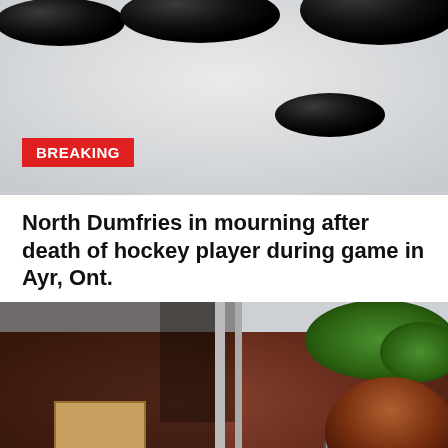[Figure (photo): Photo of hockey pucks on ice/snow surface]
North Dumfries in mourning after death of hockey player during game in Ayr, Ont.
[Figure (photo): Photo of fire-damaged brick building with boarded windows and a woman looking up at the damage; trees visible in background]
Brantford woman dealing with aftermath of